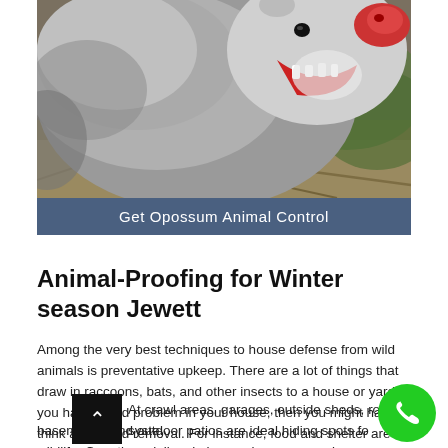[Figure (photo): Close-up photo of an opossum with its mouth open, showing teeth and pink snout, against a straw/grass background.]
Get Opossum Animal Control
Animal-Proofing for Winter season Jewett
Among the very best techniques to house defense from wild animals is preventative upkeep. There are a lot of things that draw in raccoons, bats, and other insects to a house or yard. If you have a bird problem in your house, then you might have to think about bird removal. For instance, food and shelter are the primary factors why wild animals invade our homes. They require a place to feed, reproduce, and hibernate that is far from severe weather condition or cold temperature levels.
At crawl areas, garages, outside sheds, roofing systems, basements, and outdoor patios are ideal hiding spots for wildlife. Countless dollars in house damages can be an